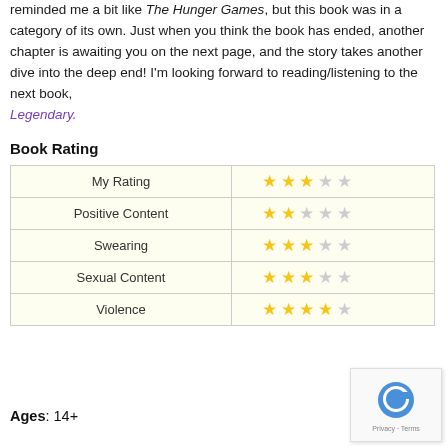turn up hints of whether or not we would meet the infamous Capatont reminded me a bit like The Hunger Games, but this book was in a category of its own. Just when you think the book has ended, another chapter is awaiting you on the next page, and the story takes another dive into the deep end! I'm looking forward to reading/listening to the next book, Legendary.
Book Rating
| Category | Rating |
| --- | --- |
| My Rating | 3/5 stars |
| Positive Content | 2/5 stars |
| Swearing | 3/5 stars |
| Sexual Content | 3/5 stars |
| Violence | 4/5 stars |
Ages: 14+